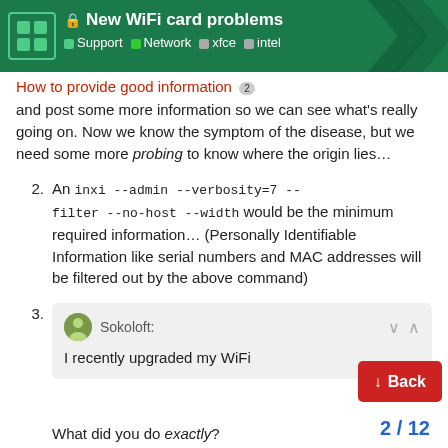New WiFi card problems | Support · Network · xfce · intel
How to provide good information 2
and post some more information so we can see what's really going on. Now we know the symptom of the disease, but we need some more probing to know where the origin lies…
2. An inxi --admin --verbosity=7 --filter --no-host --width would be the minimum required information… (Personally Identifiable Information like serial numbers and MAC addresses will be filtered out by the above command)
3. Sokoloft: I recently upgraded my WiFi — What did you do exactly?
2 / 12